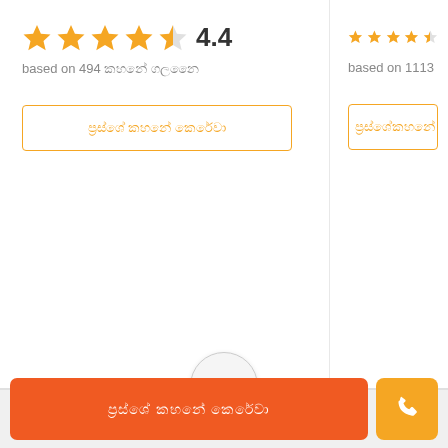4.4 — based on 494 reviews (left card)
based on 1113 reviews (right card, partial)
Ad
contact button text (Hindi)
phone button